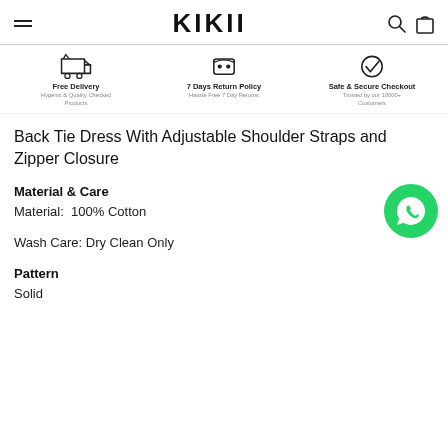KIKII
[Figure (infographic): Three feature icons: Free Delivery (truck icon), 7 Days Return Policy (headset icon), Safe & Secure Checkout (checkmark in circle icon)]
Back Tie Dress With Adjustable Shoulder Straps and Zipper Closure
Material & Care
Material:  100% Cotton
Wash Care: Dry Clean Only
Pattern
Solid